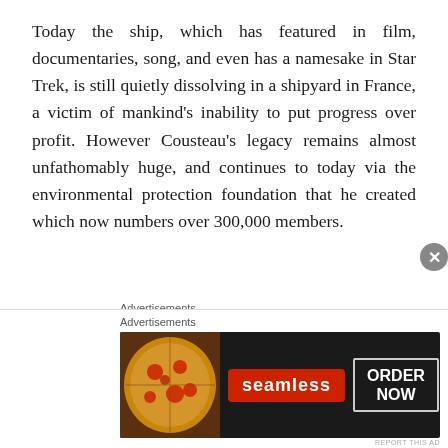Today the ship, which has featured in film, documentaries, song, and even has a namesake in Star Trek, is still quietly dissolving in a shipyard in France, a victim of mankind's inability to put progress over profit. However Cousteau's legacy remains almost unfathomably huge, and continues to today via the environmental protection foundation that he created which now numbers over 300,000 members.
Advertisements
[Figure (other): Automattic advertisement: logo with 'AUT@MATTIC' and tagline 'Build a better web and a better world.']
REPORT THIS AD
This beautiful homage to a ship which as done probably more than any other can be found in greater detail at Luis
Advertisements
[Figure (other): Seamless food delivery advertisement showing pizza image, Seamless logo, and ORDER NOW button]
REPORT THIS AD